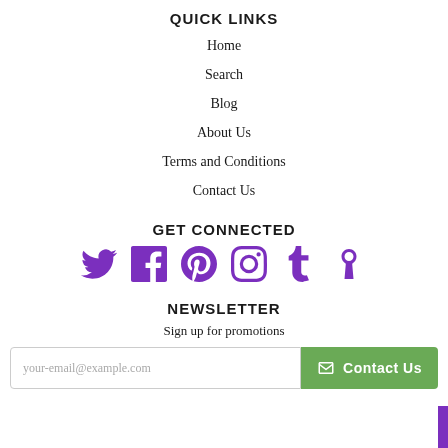QUICK LINKS
Home
Search
Blog
About Us
Terms and Conditions
Contact Us
GET CONNECTED
[Figure (infographic): Six social media icons in purple: Twitter, Facebook, Pinterest, Instagram, Tumblr, and a custom icon]
NEWSLETTER
Sign up for promotions
your-email@example.com  Contact Us